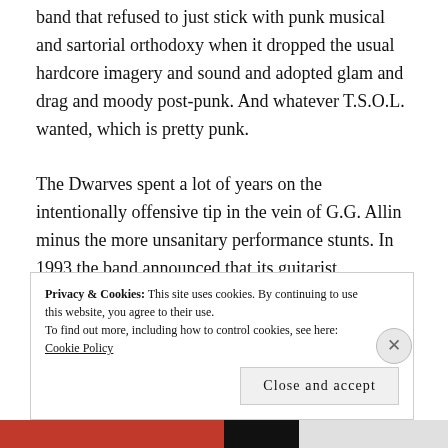band that refused to just stick with punk musical and sartorial orthodoxy when it dropped the usual hardcore imagery and sound and adopted glam and drag and moody post-punk. And whatever T.S.O.L. wanted, which is pretty punk.
The Dwarves spent a lot of years on the intentionally offensive tip in the vein of G.G. Allin minus the more unsanitary performance stunts. In 1993 the band announced that its guitarist HeWhoCannotBeNamed had been stabbed to death with a hoax that went so far as to list the HWCBN as The Dwarves' “late” guitarist on
Privacy & Cookies: This site uses cookies. By continuing to use this website, you agree to their use.
To find out more, including how to control cookies, see here: Cookie Policy
Close and accept